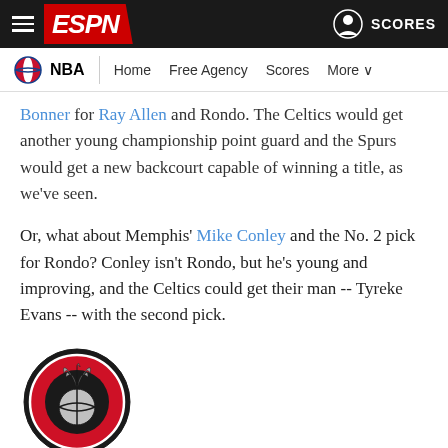ESPN - NBA navigation header
Bonner for Ray Allen and Rondo. The Celtics would get another young championship point guard and the Spurs would get a new backcourt capable of winning a title, as we've seen.
Or, what about Memphis' Mike Conley and the No. 2 pick for Rondo? Conley isn't Rondo, but he's young and improving, and the Celtics could get their man -- Tyreke Evans -- with the second pick.
[Figure (logo): Toronto Raptors NBA team logo - circular red and black logo with claw/raptor design]
One day after a second workout with the Knicks, Jrue Holiday flew to Toronto for his second workout with the